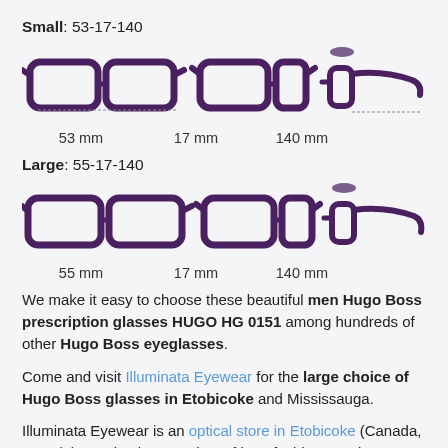Small: 53-17-140
[Figure (illustration): Three views of purple eyeglass frames (small size): front view showing 53mm lens width, bridge view showing 17mm, and temple/side view showing 140mm length]
53 mm   17 mm   140 mm
Large: 55-17-140
[Figure (illustration): Three views of purple eyeglass frames (large size): front view showing 55mm lens width, bridge view showing 17mm, and temple/side view showing 140mm length]
55 mm   17 mm   140 mm
We make it easy to choose these beautiful men Hugo Boss prescription glasses HUGO HG 0151 among hundreds of other Hugo Boss eyeglasses.
Come and visit Illuminata Eyewear for the large choice of Hugo Boss glasses in Etobicoke and Mississauga.
Illuminata Eyewear is an optical store in Etobicoke (Canada, Ontario) carrying large variety of best fashion eyeglasses brands. All eyeglasses and sunglasses bought here are covered by 1-2 year